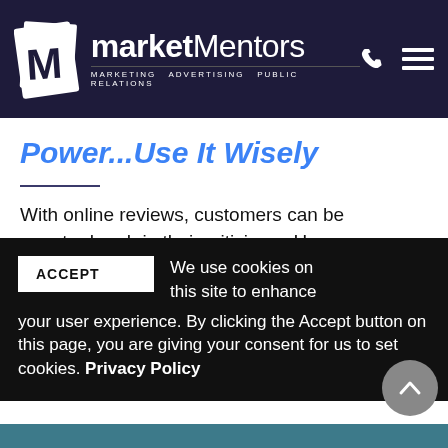market Mentors — MARKETING  ADVERTISING  PUBLIC RELATIONS
Power...Use It Wisely
With online reviews, customers can be extra harsh in their criticisms. Here are some tips for how to respond and
We use cookies on this site to enhance your user experience. By clicking the Accept button on this page, you are giving your consent for us to set cookies. Privacy Policy